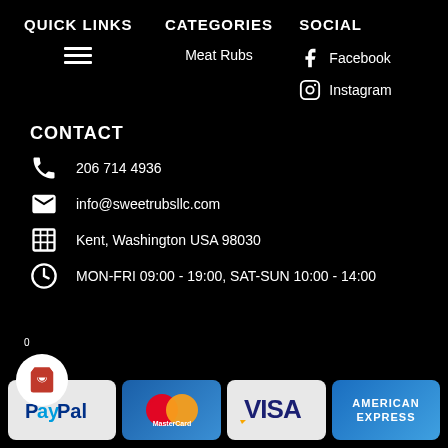QUICK LINKS
CATEGORIES
SOCIAL
Meat Rubs
Facebook
Instagram
CONTACT
206 714 4936
info@sweetrubsllc.com
Kent, Washington USA 98030
MON-FRI 09:00 - 19:00, SAT-SUN 10:00 - 14:00
[Figure (logo): Payment method logos: PayPal, MasterCard, Visa, American Express]